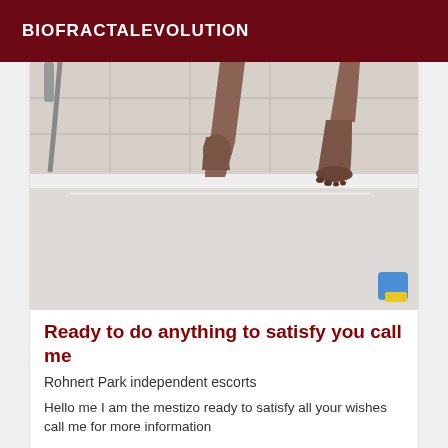BIOFRACTALEVOLUTION
[Figure (photo): Photo of person's legs standing in a white bathtub, bathroom tile visible]
Ready to do anything to satisfy you call me
Rohnert Park independent escorts
Hello me I am the mestizo ready to satisfy all your wishes call me for more information
VIP